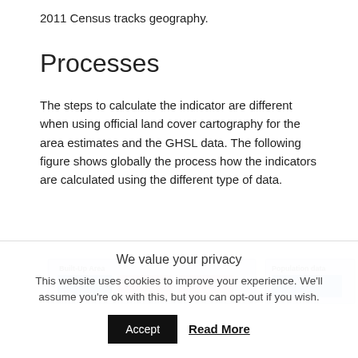2011 Census tracks geography.
Processes
The steps to calculate the indicator are different when using official land cover cartography for the area estimates and the GHSL data. The following figure shows globally the process how the indicators are calculated using the different type of data.
[Figure (flowchart): Partial view of a flowchart showing 'Built-Up Area' and 'Population data' boxes with colored sub-boxes inside, partially cut off at the bottom of the page.]
We value your privacy
This website uses cookies to improve your experience. We'll assume you're ok with this, but you can opt-out if you wish.
Accept
Read More